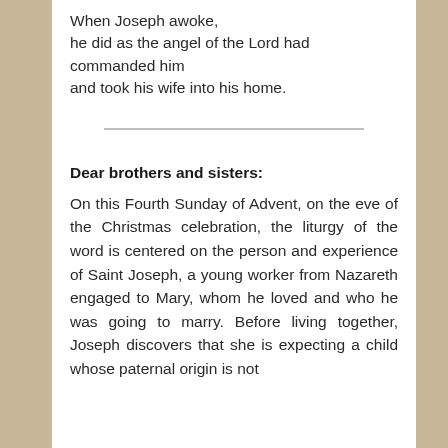When Joseph awoke,
he did as the angel of the Lord had commanded him
and took his wife into his home.
Dear brothers and sisters:
On this Fourth Sunday of Advent, on the eve of the Christmas celebration, the liturgy of the word is centered on the person and experience of Saint Joseph, a young worker from Nazareth engaged to Mary, whom he loved and who he was going to marry. Before living together, Joseph discovers that she is expecting a child whose paternal origin is not